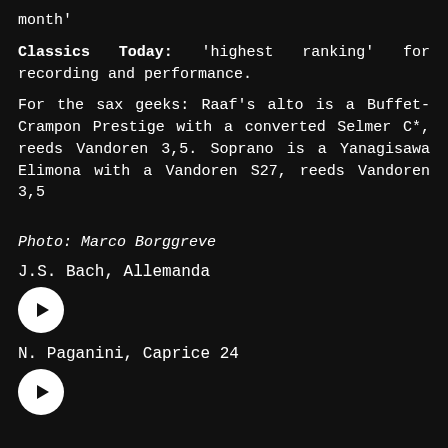month'
Classics Today: 'highest ranking' for recording and performance.
For the sax geeks: Raaf's alto is a Buffet-Crampon Prestige with a converted Selmer C*, reeds Vandoren 3,5. Soprano is a Yanagisawa Elimona with a Vandoren S27, reeds Vandoren 3,5
Photo: Marco Borggreve
J.S. Bach, Allemanda
[Figure (other): Play button circle icon for J.S. Bach Allemanda audio track]
N. Paganini, Caprice 24
[Figure (other): Play button circle icon for N. Paganini Caprice 24 audio track]